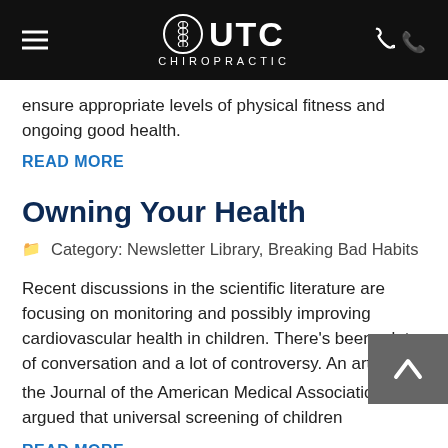UTC CHIROPRACTIC
ensure appropriate levels of physical fitness and ongoing good health.
READ MORE
Owning Your Health
Category: Newsletter Library, Breaking Bad Habits
Recent discussions in the scientific literature are focusing on monitoring and possibly improving cardiovascular health in children. There's been a lot of conversation and a lot of controversy. An article in the Journal of the American Medical Association1 argued that universal screening of children
READ MORE